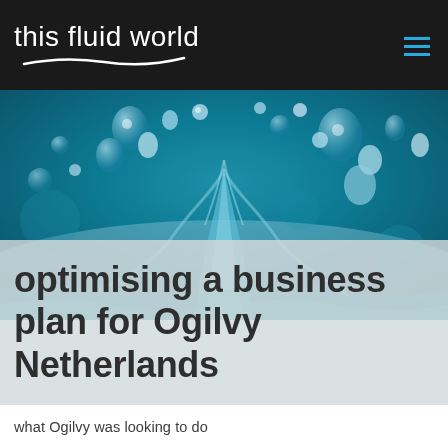this fluid world
[Figure (photo): Close-up macro photograph of water droplets splashing against a teal/blue background, creating dynamic water splash patterns with multiple droplets visible in the air.]
optimising a business plan for Ogilvy Netherlands
what Ogilvy was looking to do